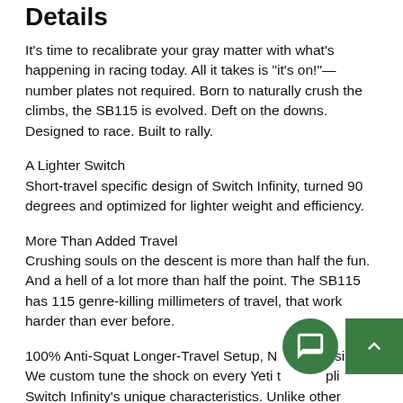Details
It's time to recalibrate your gray matter with what's happening in racing today. All it takes is "it's on!"—number plates not required. Born to naturally crush the climbs, the SB115 is evolved. Deft on the downs. Designed to race. Built to rally.
A Lighter Switch
Short-travel specific design of Switch Infinity, turned 90 degrees and optimized for lighter weight and efficiency.
More Than Added Travel
Crushing souls on the descent is more than half the fun. And a hell of a lot more than half the point. The SB115 has 115 genre-killing millimeters of travel, that work harder than ever before.
100% Anti-Squat Longer-Travel Setup, No Compromise We custom tune the shock on every Yeti to capitalize on Switch Infinity's unique characteristics. Unlike other